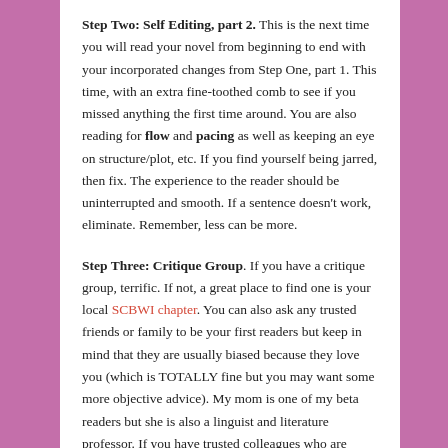Step Two: Self Editing, part 2. This is the next time you will read your novel from beginning to end with your incorporated changes from Step One, part 1. This time, with an extra fine-toothed comb to see if you missed anything the first time around. You are also reading for flow and pacing as well as keeping an eye on structure/plot, etc. If you find yourself being jarred, then fix. The experience to the reader should be uninterrupted and smooth. If a sentence doesn't work, eliminate. Remember, less can be more.
Step Three: Critique Group. If you have a critique group, terrific. If not, a great place to find one is your local SCBWI chapter. You can also ask any trusted friends or family to be your first readers but keep in mind that they are usually biased because they love you (which is TOTALLY fine but you may want some more objective advice). My mom is one of my beta readers but she is also a linguist and literature professor. If you have trusted colleagues who are writers, you can also ask